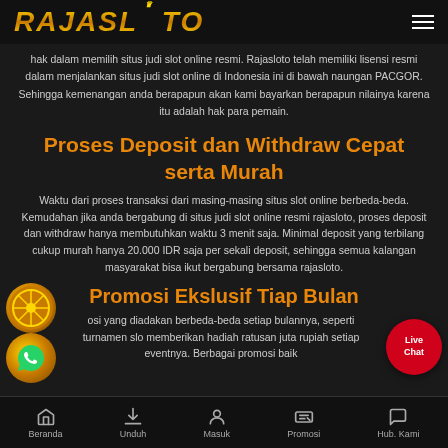RAJASLOTO
hak dalam memilih situs judi slot online resmi. Rajasloto telah memiliki lisensi resmi dalam menjalankan situs judi slot online di Indonesia ini di bawah naungan PACGOR. Sehingga kemenangan anda berapapun akan kami bayarkan berapapun nilainya karena itu adalah hak para pemain.
Proses Deposit dan Withdraw Cepat serta Murah
Waktu dari proses transaksi dari masing-masing situs slot online berbeda-beda. Kemudahan jika anda bergabung di situs judi slot online resmi rajasloto, proses deposit dan withdraw hanya membutuhkan waktu 3 menit saja. Minimal deposit yang terbilang cukup murah hanya 20.000 IDR saja per sekali deposit, sehingga semua kalangan masyarakat bisa ikut bergabung bersama rajasloto.
Promosi Ekslusif Tiap Bulan
osi yang diadakan berbeda-beda setiap bulannya, seperti turnamen slo memberikan hadiah ratusan juta rupiah setiap eventnya. Berbagai promosi baik
Beranda | Unduh | Masuk | Promosi | Hub. Kami